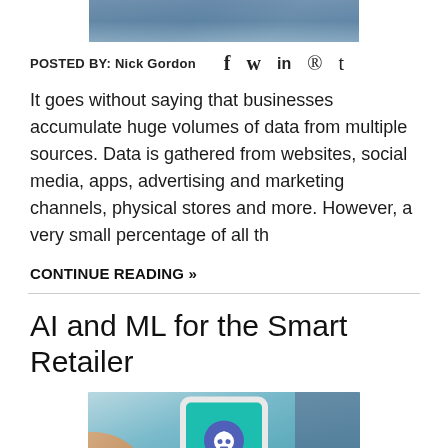[Figure (photo): Partial top image of a person, cropped at top of page]
POSTED BY: Nick Gordon
[Figure (other): Social media share icons: Facebook, Twitter, LinkedIn, Pinterest, Tumblr]
It goes without saying that businesses accumulate huge volumes of data from multiple sources. Data is gathered from websites, social media, apps, advertising and marketing channels, physical stores and more. However, a very small percentage of all th
CONTINUE READING »
AI and ML for the Smart Retailer
[Figure (photo): Person holding a smartphone displaying a chatbot interface with teal background showing a robot icon and text 'WHAT CAN I HELP YOU WITH?']